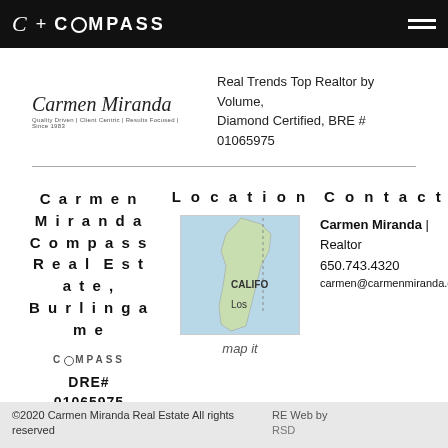Carmen Miranda + COMPASS
[Figure (logo): Carmen Miranda script signature logo with tagline: Quality Driven | Client Centric | Results Focused | Since 1983]
Real Trends Top Realtor by Volume, Diamond Certified, BRE # 01065975
Carmen Miranda Compass Real Estate, Burlingame
COMPASS DRE# 01065975
Location
[Figure (map): Map showing California coastline with label CALIFO and Los]
map it
Contact
Carmen Miranda | Realtor 650.743.4320 carmen@carmenmiranda.com
©2020 Carmen Miranda Real Estate All rights reserved RE Web by RSD